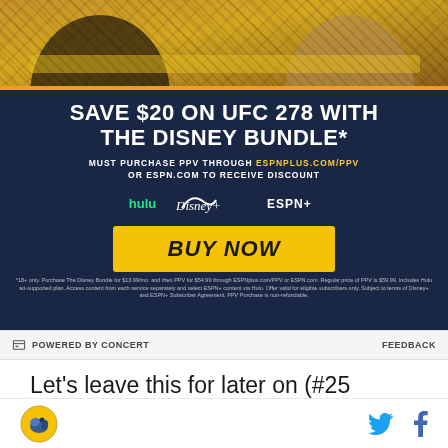[Figure (screenshot): UFC 278 Disney Bundle advertisement. Dark navy background. Top: fighters image. Headline: SAVE $20 ON UFC 278 WITH THE DISNEY BUNDLE*. Subtext: MUST PURCHASE PPV THROUGH ESPNPLUS.COM/PPV OR ESPN.COM TO RECEIVE DISCOUNT. Logos: hulu, Disney+, ESPN+. Button: BUY NOW. Fine print disclaimer at bottom.]
POWERED BY CONCERT
FEEDBACK
Let's leave this for later on (#25 Michigan State, #5 Ohio State, #14 Iowa and Nebraska all loom), but UW is looking good under Head Coach and former UW QB